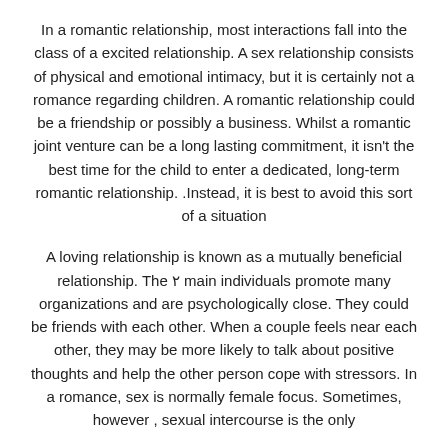In a romantic relationship, most interactions fall into the class of a excited relationship. A sex relationship consists of physical and emotional intimacy, but it is certainly not a romance regarding children. A romantic relationship could be a friendship or possibly a business. Whilst a romantic joint venture can be a long lasting commitment, it isn't the best time for the child to enter a dedicated, long-term romantic relationship. Instead, it is best to avoid this sort of a situation.
A loving relationship is known as a mutually beneficial relationship. The 2 main individuals promote many organizations and are psychologically close. They could be friends with each other. When a couple feels near each other, they may be more likely to talk about positive thoughts and help the other person cope with stressors. In a romance, sex is normally female focus. Sometimes, however , sexual intercourse is the only way to fully express loving feelings, not reaching...